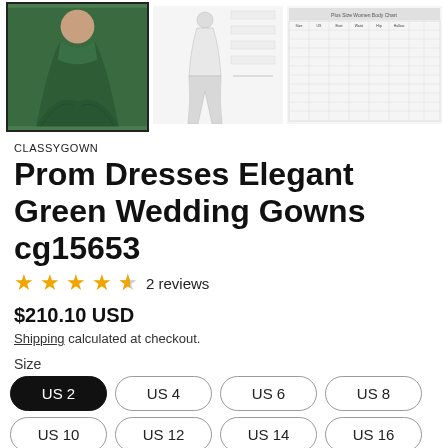[Figure (photo): Three product images: a green ball gown dress (selected/bordered), a size chart diagram with a white dress figure, and a measurement size chart table]
CLASSYGOWN
Prom Dresses Elegant Green Wedding Gowns cg15653
★★★★½ 2 reviews
$210.10 USD
Shipping calculated at checkout.
Size
US 2 US 4 US 6 US 8 US 10 US 12 US 14 US 16